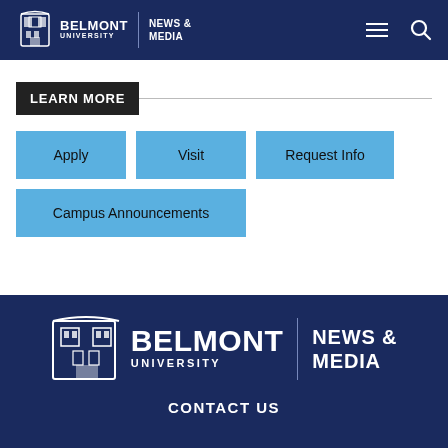BELMONT UNIVERSITY | NEWS & MEDIA
LEARN MORE
Apply
Visit
Request Info
Campus Announcements
[Figure (logo): Belmont University News & Media logo in white on dark blue footer]
CONTACT US